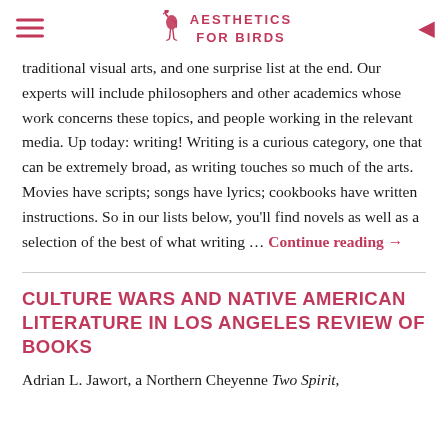AESTHETICS FOR BIRDS
traditional visual arts, and one surprise list at the end. Our experts will include philosophers and other academics whose work concerns these topics, and people working in the relevant media. Up today: writing! Writing is a curious category, one that can be extremely broad, as writing touches so much of the arts. Movies have scripts; songs have lyrics; cookbooks have written instructions. So in our lists below, you'll find novels as well as a selection of the best of what writing … Continue reading →
CULTURE WARS AND NATIVE AMERICAN LITERATURE IN LOS ANGELES REVIEW OF BOOKS
Adrian L. Jawort, a Northern Cheyenne Two Spirit,